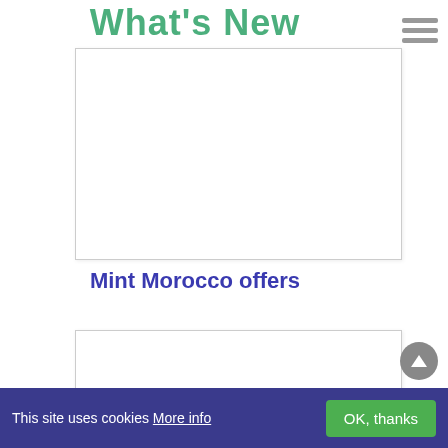What's New
[Figure (photo): White rectangular image placeholder box with light border and shadow]
Mint Morocco offers
[Figure (photo): White rectangular image placeholder box with light border and shadow, partially visible]
This site uses cookies More info
OK, thanks